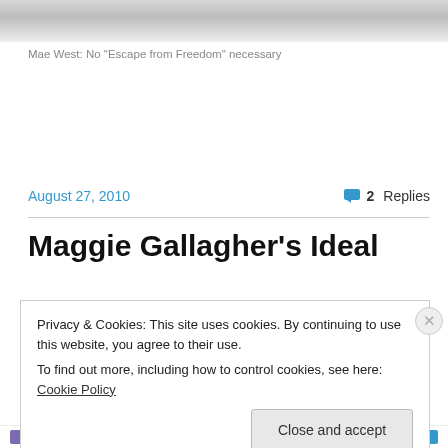[Figure (photo): Partial photo strip at top of page, showing bottom of a black and white photograph]
Mae West: No "Escape from Freedom" necessary
August 27, 2010
2 Replies
Maggie Gallagher's Ideal
Privacy & Cookies: This site uses cookies. By continuing to use this website, you agree to their use.
To find out more, including how to control cookies, see here: Cookie Policy
Close and accept